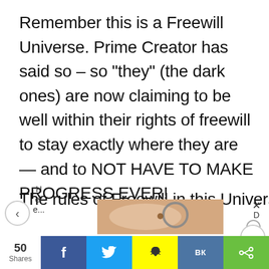Remember this is a Freewill Universe. Prime Creator has said so – so “they” (the dark ones) are now claiming to be well within their rights of freewill to stay exactly where they are — and to NOT HAVE TO MAKE PROGRESS EVER!
The rules of Freewill in this Universe
[Figure (screenshot): Ad overlay with navigation arrows, ad text 'Here...', skin mole image with magnifier, close button, D and O labels]
[Figure (infographic): Social share bar with 50 Shares count, Facebook, Twitter, Snapchat, VK, and share buttons]